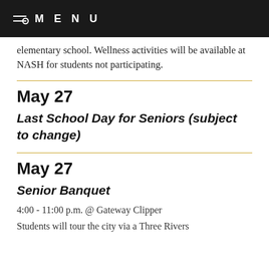MENU
elementary school. Wellness activities will be available at NASH for students not participating.
May 27
Last School Day for Seniors (subject to change)
May 27
Senior Banquet
4:00 - 11:00 p.m. @ Gateway Clipper
Students will tour the city via a Three Rivers